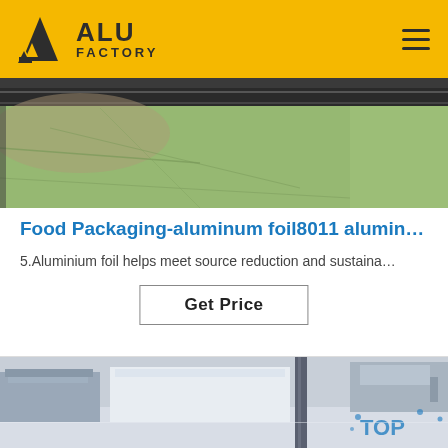ALU FACTORY
[Figure (photo): Close-up of green/olive colored aluminum foil sheet on a machine surface with dark metallic press bar above]
Food Packaging-aluminum foil8011 alumin…
5.Aluminium foil helps meet source reduction and sustaina…
Get Price
[Figure (photo): Factory floor with large aluminum sheet stacks, machinery, and workers visible in background with 'TOP' watermark]